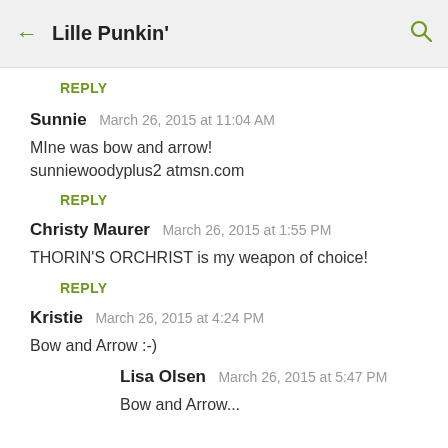← Lille Punkin' 🔍
REPLY
Sunnie   March 26, 2015 at 11:04 AM
MIne was bow and arrow! sunniewoodyplus2 atmsn.com
REPLY
Christy Maurer   March 26, 2015 at 1:55 PM
THORIN'S ORCHRIST is my weapon of choice!
REPLY
Kristie   March 26, 2015 at 4:24 PM
Bow and Arrow :-)
Lisa Olsen   March 26, 2015 at 5:47 PM
Bow and Arrow...